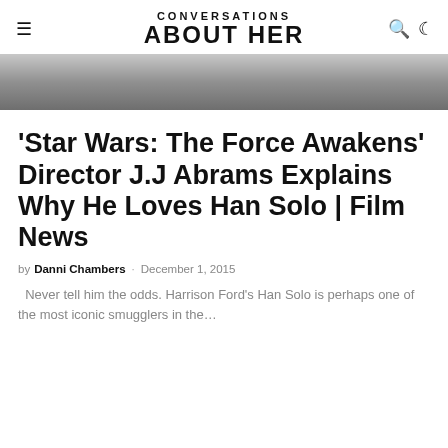CONVERSATIONS ABOUT HER
[Figure (photo): Partial photo of a person, grayscale, cropped at top of article]
'Star Wars: The Force Awakens' Director J.J Abrams Explains Why He Loves Han Solo | Film News
by Danni Chambers · December 1, 2015
Never tell him the odds. Harrison Ford's Han Solo is perhaps one of the most iconic smugglers in the...